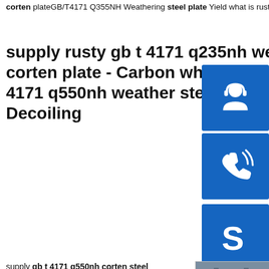corten plateGB/T4171 Q355NH Weathering steel plate Yield what is rusty gb t 4171 q550nh weather steel corten plate Decoiling
supply rusty gb t 4171 q235nh weather corten plate - Carbon what is rusty gb t 4171 q550nh weather steel corten plate Decoiling
[Figure (photo): Stack of steel plates in a warehouse/storage facility, showing weathering/corten steel plates stored on tracks or rails.]
[Figure (illustration): Blue icon box with customer service / headset icon]
[Figure (illustration): Blue icon box with phone/call icon]
[Figure (illustration): Blue icon box with Skype icon]
supply gb t 4171 q550nh corten steel mechanical pr . gb t 4171 q265gnh steel mechanical properties MS Steel .gb t 4171 q295gnh steel with standard sizes.GB T 4171 Q550NH weather steel with standard sizes As the weathering steel,Q310GNH steel is widely used in vehicle,bridge,tower,container and so on.corten,astm a588/a588m,asme sa588/sa588m ,en what is rusty gb t 4171 q550nh weather steel corten plate Decoiling supply rusty gb t 4171 q235nh weather corten plate - Corten what is rusty gb t 4171 q550nh weather steel corten plate DecoilingPrime quality Supply GB T 4171 Q265GNH